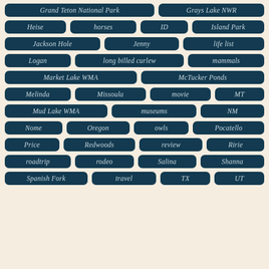Grand Teton National Park
Grays Lake NWR
Heise
horses
ID
Island Park
Jackson Hole
Jenny
life list
Logan
long billed curlew
mammals
Market Lake WMA
McTucker Ponds
Melinda
Missoula
movie
MT
Mud Lake WMA
museums
NM
Nome
Oregon
owls
Pocatello
Price
Redwoods
review
Ririe
roadtrip
rodeo
Salina
Shanna
Spanish Fork
travel
TX
UT